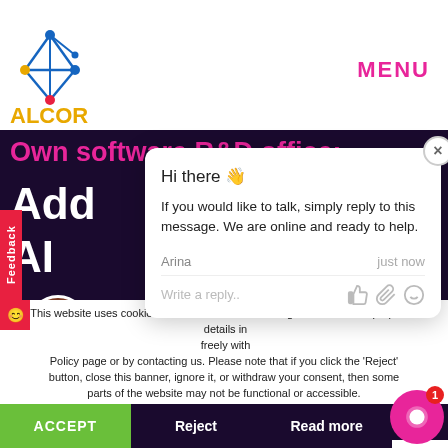[Figure (logo): Alcor logo with blue geometric icon and orange ALCOR text]
MENU
Own software R&D office:
Add
AI
[Figure (screenshot): Chat widget popup with 'Hi there 👋' greeting, message from Arina saying if you would like to talk, simply reply to this message. We are online and ready to help. Reply input field with like, attachment, and emoji icons.]
This website uses cookies and other similar technologies for technical purposes details in freely with Policy page or by contacting us. Please note that if you click the 'Reject' button, close this banner, ignore it, or withdraw your consent, then some parts of the website may not be functional or accessible.
ACCEPT
Reject
Read more